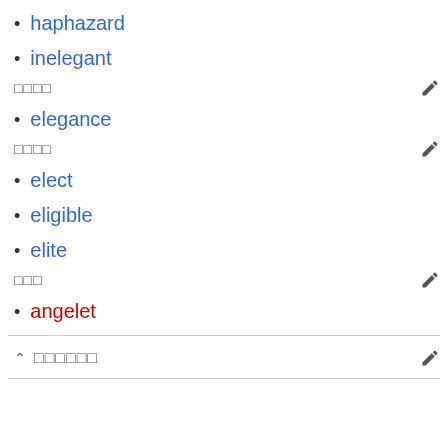haphazard
inelegant
□□□□
elegance
□□□□
elect
eligible
elite
□□□
angelet
□□□□□□